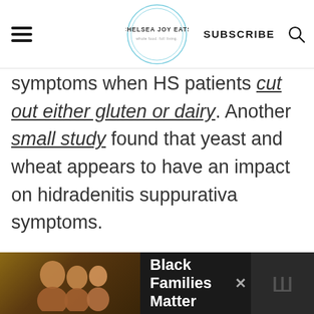Chelsea Joy Eats | SUBSCRIBE
symptoms when HS patients cut out either gluten or dairy. Another small study found that yeast and wheat appears to have an impact on hidradenitis suppurativa symptoms.
[Figure (screenshot): Advertisement banner: DON'T TEXT AND [car emoji] ad by NHTSA]
[Figure (screenshot): Bottom advertisement bar: Black Families Matter with photo of smiling family]